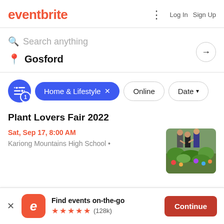eventbrite | Log In  Sign Up
Search anything
Gosford
Home & Lifestyle  x  Online  Date
Plant Lovers Fair 2022
Sat, Sep 17, 8:00 AM
Kariong Mountains High School •
[Figure (photo): People browsing plants at a plant fair outdoor market]
Find events on-the-go ★★★★★ (128k)  Continue